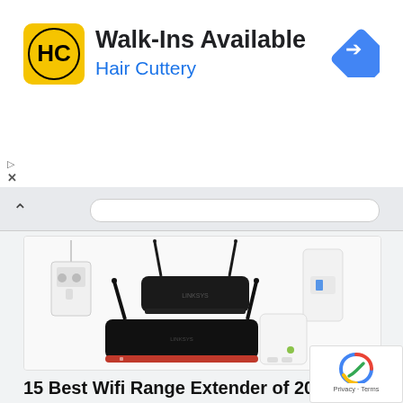[Figure (advertisement): Hair Cuttery ad banner with logo, Walk-Ins Available text, and Google Maps navigation icon]
[Figure (screenshot): Browser chrome showing chevron back button and URL bar]
[Figure (photo): Product photo showing multiple WiFi routers and range extenders on white background — includes black Linksys router with two antennas, small white wall-plug extender, white vertical extender, and white TP-Link powerline adapter]
15 Best Wifi Range Extender of 2019 Best Reviews
[Figure (logo): Google reCAPTCHA badge with Privacy and Terms text]